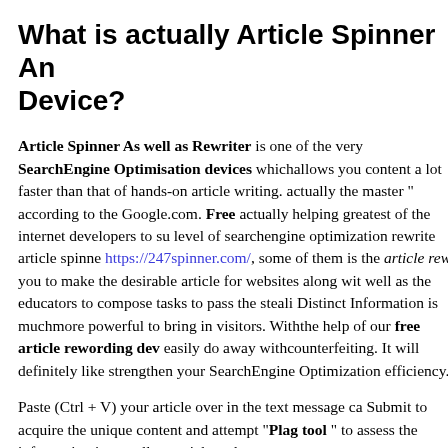What is actually Article Spinner And Device?
Article Spinner As well as Rewriter is one of the very SearchEngine Optimisation devices whichallows you content a lot faster than that of hands-on article writing. actually the master " according to the Google.com. Free actually helping greatest of the internet developers to su level of searchengine optimization rewrite article spinne https://247spinner.com/, some of them is the article rew you to make the desirable article for websites along wit well as the educators to compose tasks to pass the steali Distinct Information is muchmore powerful to bring in visitors. Withthe help of our free article rewording de easily do away withcounterfeiting. It will definitely like strengthen your SearchEngine Optimization efficiency.
Paste (Ctrl + V) your article over in the text message ca Submit to acquire the unique content and attempt "Plag tool " to assess the information is actually special or pla
How to setup information compos